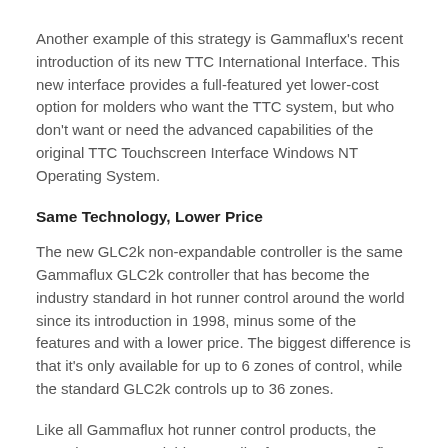Another example of this strategy is Gammaflux's recent introduction of its new TTC International Interface. This new interface provides a full-featured yet lower-cost option for molders who want the TTC system, but who don't want or need the advanced capabilities of the original TTC Touchscreen Interface Windows NT Operating System.
Same Technology, Lower Price
The new GLC2k non-expandable controller is the same Gammaflux GLC2k controller that has become the industry standard in hot runner control around the world since its introduction in 1998, minus some of the features and with a lower price. The biggest difference is that it's only available for up to 6 zones of control, while the standard GLC2k controls up to 36 zones.
Like all Gammaflux hot runner control products, the GLC2k non-expandable controller features Gammaflux-